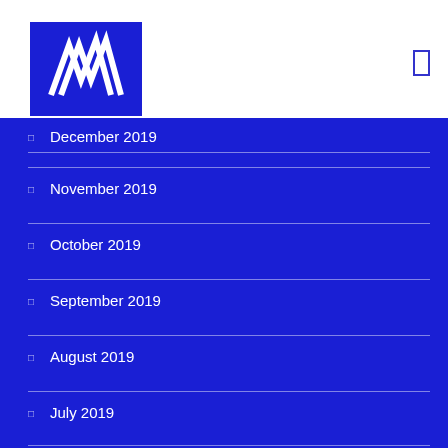[Figure (logo): Blue square logo with white zigzag/lightning bolt M-shaped lines]
December 2019
November 2019
October 2019
September 2019
August 2019
July 2019